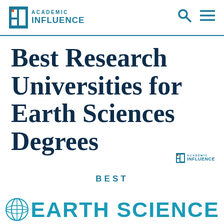ACADEMIC INFLUENCE
Best Research Universities for Earth Sciences Degrees
[Figure (logo): Academic Influence watermark logo (small, bottom right of title area)]
BEST
EARTH SCIENCE